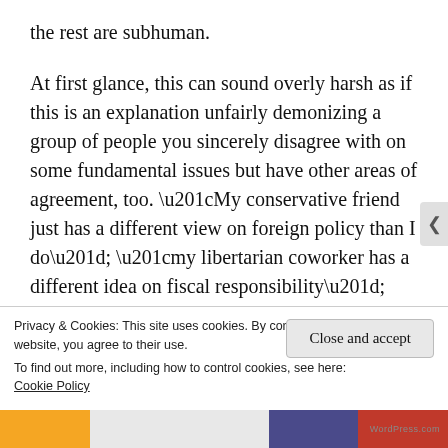the rest are subhuman.
At first glance, this can sound overly harsh as if this is an explanation unfairly demonizing a group of people you sincerely disagree with on some fundamental issues but have other areas of agreement, too. “My conservative friend just has a different view on foreign policy than I do”; “my libertarian coworker has a different idea on fiscal responsibility”; “my evangelical neighbor has a good heart, we just can’t see
Privacy & Cookies: This site uses cookies. By continuing to use this website, you agree to their use.
To find out more, including how to control cookies, see here: Cookie Policy
Close and accept